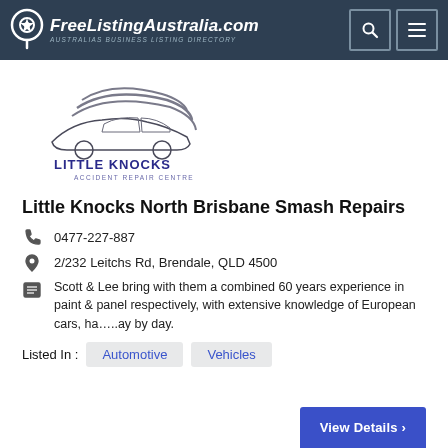FreeListingAustralia.com — AUSTRALIAS BUSINESS LISTING DIRECTORY
[Figure (logo): Little Knocks Accident Repair Centre logo — stylized car with swoosh lines above text LITTLE KNOCKS ACCIDENT REPAIR CENTRE]
Little Knocks North Brisbane Smash Repairs
0477-227-887
2/232 Leitchs Rd, Brendale, QLD 4500
Scott & Lee bring with them a combined 60 years experience in paint & panel respectively, with extensive knowledge of European cars, ha…..ay by day.
Listed In : Automotive  Vehicles
View Details ›